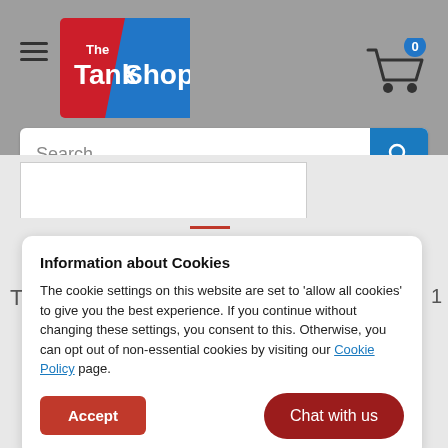[Figure (logo): The TankShop logo — red and blue diagonal design with white text]
[Figure (screenshot): Shopping cart icon with blue badge showing 0]
Search...
Information about Cookies
The cookie settings on this website are set to 'allow all cookies' to give you the best experience. If you continue without changing these settings, you consent to this. Otherwise, you can opt out of non-essential cookies by visiting our Cookie Policy page.
Accept
Chat with us